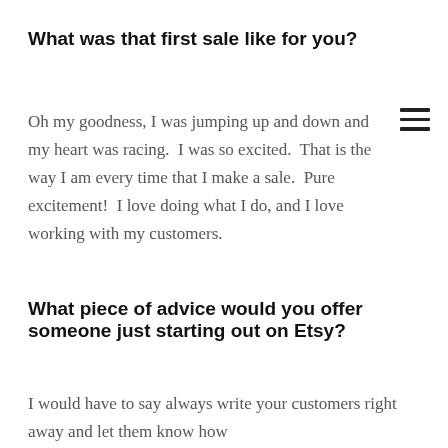What was that first sale like for you?
Oh my goodness, I was jumping up and down and my heart was racing.  I was so excited.  That is the way I am every time that I make a sale.  Pure excitement!  I love doing what I do, and I love working with my customers.
What piece of advice would you offer someone just starting out on Etsy?
I would have to say always write your customers right away and let them know how